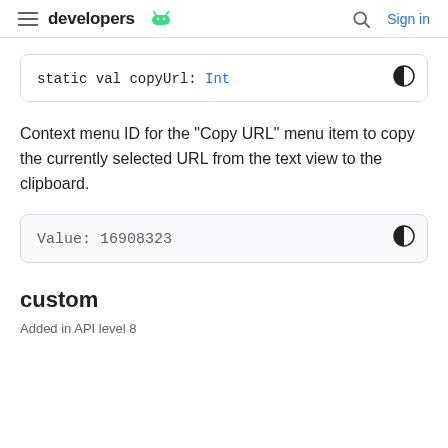developers | Sign in
static val copyUrl: Int
Context menu ID for the "Copy URL" menu item to copy the currently selected URL from the text view to the clipboard.
Value: 16908323
custom
Added in API level 8